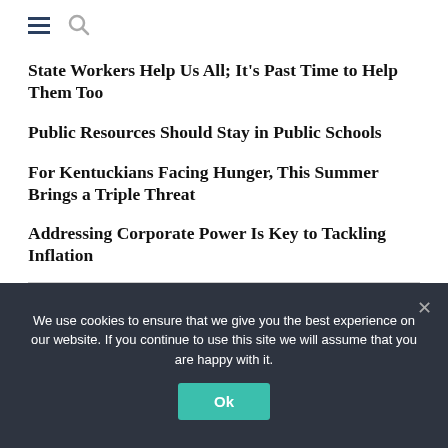State Workers Help Us All; It’s Past Time to Help Them Too
Public Resources Should Stay in Public Schools
For Kentuckians Facing Hunger, This Summer Brings a Triple Threat
Addressing Corporate Power Is Key to Tackling Inflation
We use cookies to ensure that we give you the best experience on our website. If you continue to use this site we will assume that you are happy with it.